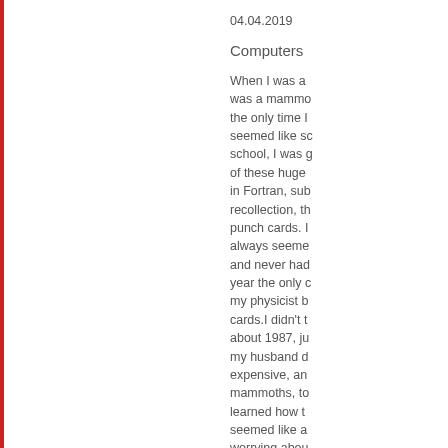04.04.2019
Computers
When I was a was a mammo the only time I seemed like sc school, I was g of these huge in Fortran, sub recollection, th punch cards. I always seeme and never had year the only c my physicist b cards.I didn't t about 1987, ju my husband d expensive, an mammoths, to learned how t seemed like a worrying abou